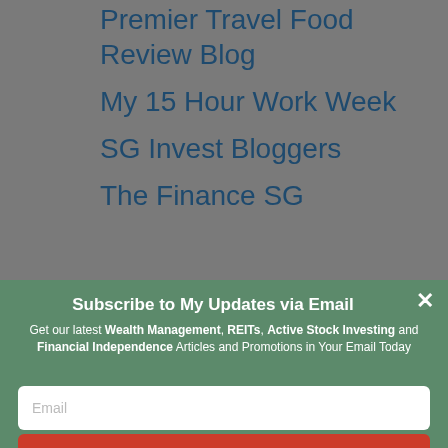Premier Travel Food Review Blog
My 15 Hour Work Week
SG Invest Bloggers
The Finance SG
Money Management
Subscribe to My Updates via Email
Get our latest Wealth Management, REITs, Active Stock Investing and Financial Independence Articles and Promotions in Your Email Today
Email
SUBSCRIBE